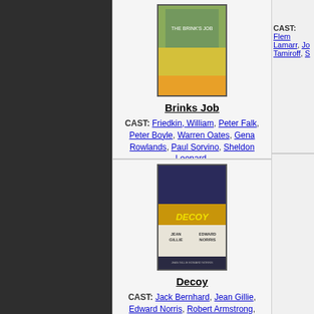[Figure (photo): Movie poster for Brinks Job (partially visible at top)]
Brinks Job
CAST: Friedkin, William, Peter Falk, Peter Boyle, Warren Oates, Gena Rowlands, Paul Sorvino, Sheldon Leonard,
YEAR: 1978
[Figure (photo): Movie poster for Decoy (1946) - showing Jean Gillie and Edward Norris]
Decoy
CAST: Jack Bernhard, Jean Gillie, Edward Norris, Robert Armstrong, Herbert Rudley, Sheldon Leonard, Marjorie Woodworth, Philip Van Zandt, Carole Donne, John Shay, Bert Roach,
YEAR: 1946